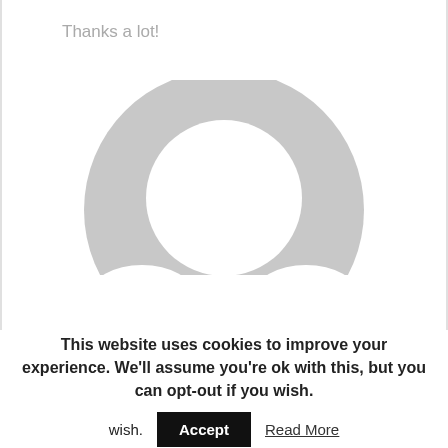Thanks a lot!
[Figure (illustration): Large grey circular avatar/profile placeholder icon — a horseshoe/donut shape in light grey representing a generic user silhouette, cropped at the bottom of the top section.]
This website uses cookies to improve your experience. We'll assume you're ok with this, but you can opt-out if you wish.
Accept
Read More